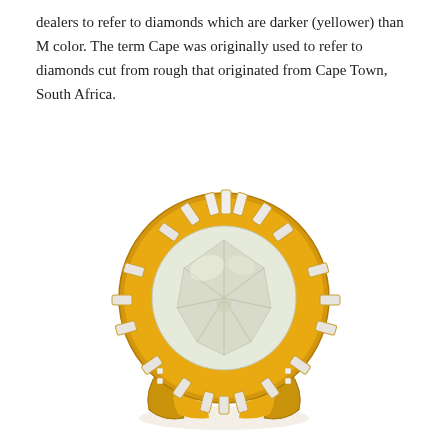dealers to refer to diamonds which are darker (yellower) than M color. The term Cape was originally used to refer to diamonds cut from rough that originated from Cape Town, South Africa.
[Figure (photo): A large round brilliant diamond ring set in yellow gold with a halo of baguette diamonds arranged in a sunburst/ballerina pattern around the center stone. The center stone appears to have a slight yellow/Cape color tint.]